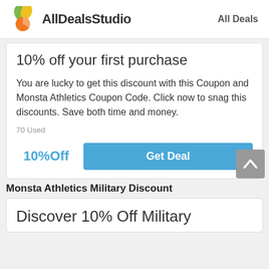AllDealsStudio   All Deals
10% off your first purchase
You are lucky to get this discount with this Coupon and Monsta Athletics Coupon Code. Click now to snag this discounts. Save both time and money.
70 Used
10%Off   Get Deal
Monsta Athletics Military Discount
Discover 10% Off Military